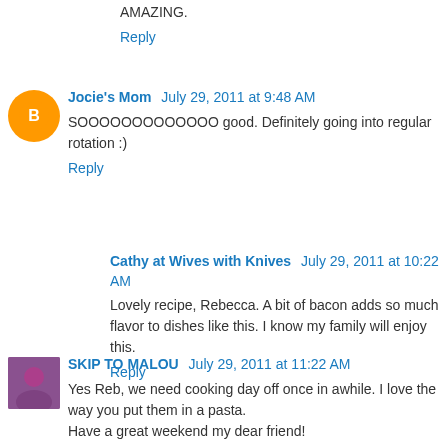AMAZING.
Reply
Jocie's Mom  July 29, 2011 at 9:48 AM
SOOOOOOOOOOOOO good. Definitely going into regular rotation :)
Reply
Cathy at Wives with Knives  July 29, 2011 at 10:22 AM
Lovely recipe, Rebecca. A bit of bacon adds so much flavor to dishes like this. I know my family will enjoy this.
Reply
SKIP TO MALOU  July 29, 2011 at 11:22 AM
Yes Reb, we need cooking day off once in awhile. I love the way you put them in a pasta.
Have a great weekend my dear friend!